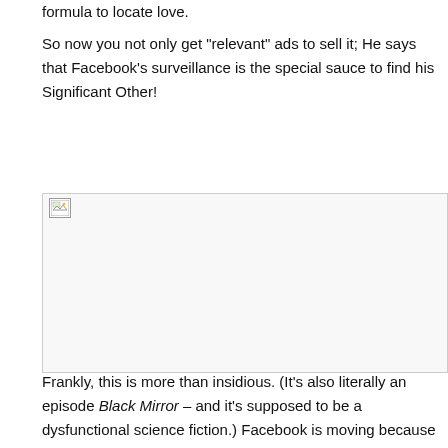formula to locate love.
So now you not only get "relevant" ads to sell it; He says that Facebook's surveillance is the special sauce to find his Significant Other!
[Figure (photo): Broken/unloaded image placeholder with small image icon in top-left corner]
Frankly, this is more than insidious. (It's also literally an episode Black Mirror – and it's supposed to be a dysfunctional science fiction.) Facebook is moving because it needs a new way to package and sell its nasty people surveillance practice. He